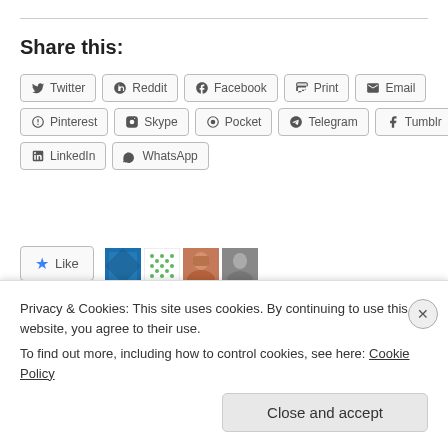Share this:
Twitter
Reddit
Facebook
Print
Email
Pinterest
Skype
Pocket
Telegram
Tumblr
LinkedIn
WhatsApp
4 bloggers like this.
June 12, 2022  7 Replies
Privacy & Cookies: This site uses cookies. By continuing to use this website, you agree to their use. To find out more, including how to control cookies, see here: Cookie Policy